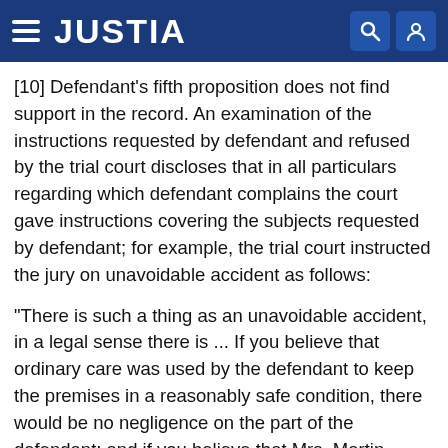JUSTIA
[10] Defendant's fifth proposition does not find support in the record. An examination of the instructions requested by defendant and refused by the trial court discloses that in all particulars regarding which defendant complains the court gave instructions covering the subjects requested by defendant; for example, the trial court instructed the jury on unavoidable accident as follows:
"There is such a thing as an unavoidable accident, in a legal sense there is ... If you believe that ordinary care was used by the defendant to keep the premises in a reasonably safe condition, there would be no negligence on the part of the defendant; and if you believe that Mrs. Martin stepped on this beer bottle without any negligence on her part, her accident did not give rise to any claim of liability on the part of the Turf Club. It would